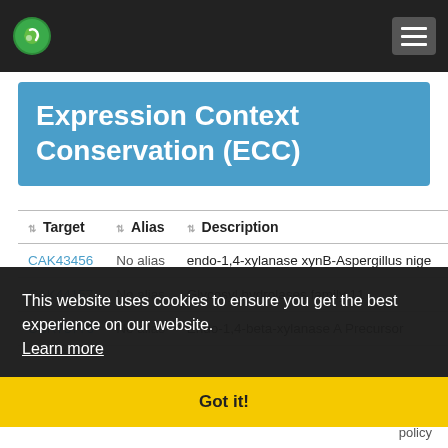fungiguru | About | Contact | Disclaimer | Privacy policy
Expression Context Conservation (ECC)
| Target | Alias | Description |
| --- | --- | --- |
| CAK43456 | No alias | endo-1,4-xylanase xynB-Aspergillus nige |
| CAK44157 | No alias | Glycosyl hydrolases family 11 |
| CBR75776 | No alias | Endo-1,4-beta-xylanase A Precursor |
| CBR86748 | No alias | Endo-1,4-beta-xylanase B Precursor |
| EAA28214 | No alias | Glycosyl hydrolases family 11 (GH11) do |
| FAA34909 | No alias | Glycosyl hydrolases family 11 (GH11) do |
This website uses cookies to ensure you get the best experience on our website. Learn more
Got it!
fungiguru  About  Contact  Disclaimer  Privacy policy